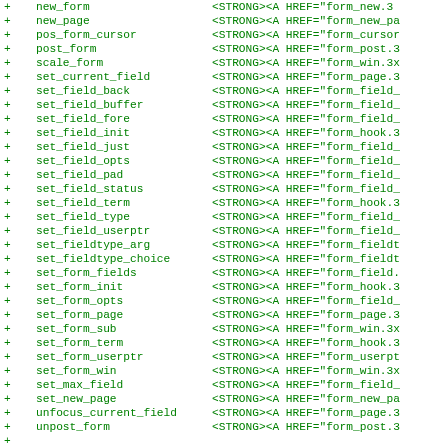+   new_form           <STRONG><A HREF="form_new.3
+   new_page           <STRONG><A HREF="form_new_pa
+   pos_form_cursor    <STRONG><A HREF="form_cursor
+   post_form          <STRONG><A HREF="form_post.3
+   scale_form         <STRONG><A HREF="form_win.3x
+   set_current_field  <STRONG><A HREF="form_page.3
+   set_field_back     <STRONG><A HREF="form_field_
+   set_field_buffer   <STRONG><A HREF="form_field_
+   set_field_fore     <STRONG><A HREF="form_field_
+   set_field_init     <STRONG><A HREF="form_hook.3
+   set_field_just     <STRONG><A HREF="form_field_
+   set_field_opts     <STRONG><A HREF="form_field_
+   set_field_pad      <STRONG><A HREF="form_field_
+   set_field_status   <STRONG><A HREF="form_field_
+   set_field_term     <STRONG><A HREF="form_hook.3
+   set_field_type     <STRONG><A HREF="form_field_
+   set_field_userptr  <STRONG><A HREF="form_field_
+   set_fieldtype_arg  <STRONG><A HREF="form_fieldt
+   set_fieldtype_choice <STRONG><A HREF="form_fieldt
+   set_form_fields    <STRONG><A HREF="form_field.
+   set_form_init      <STRONG><A HREF="form_hook.3
+   set_form_opts      <STRONG><A HREF="form_field_
+   set_form_page      <STRONG><A HREF="form_page.3
+   set_form_sub       <STRONG><A HREF="form_win.3x
+   set_form_term      <STRONG><A HREF="form_hook.3
+   set_form_userptr   <STRONG><A HREF="form_userpt
+   set_form_win       <STRONG><A HREF="form_win.3x
+   set_max_field      <STRONG><A HREF="form_field_
+   set_new_page       <STRONG><A HREF="form_new_pa
+   unfocus_current_field <STRONG><A HREF="form_page.3
+   unpost_form        <STRONG><A HREF="form_post.3
+